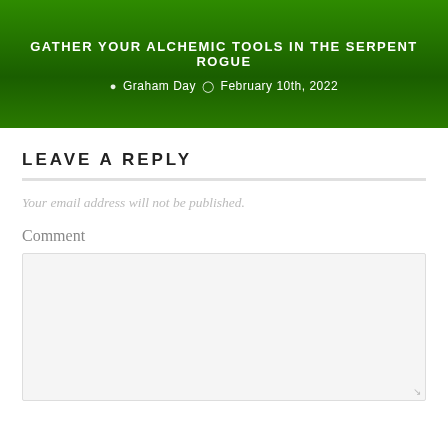GATHER YOUR ALCHEMIC TOOLS IN THE SERPENT ROGUE
Graham Day · February 10th, 2022
LEAVE A REPLY
Your email address will not be published.
Comment